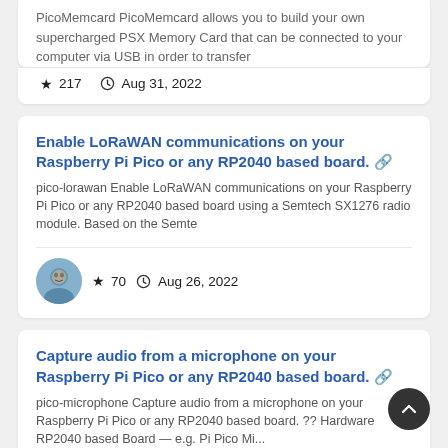PicoMemcard PicoMemcard allows you to build your own supercharged PSX Memory Card that can be connected to your computer via USB in order to transfer
★ 217   🕐 Aug 31, 2022
Enable LoRaWAN communications on your Raspberry Pi Pico or any RP2040 based board. 🔗
pico-lorawan Enable LoRaWAN communications on your Raspberry Pi Pico or any RP2040 based board using a Semtech SX1276 radio module. Based on the Semte
★ 70   🕐 Aug 26, 2022
Capture audio from a microphone on your Raspberry Pi Pico or any RP2040 based board. 🔗
pico-microphone Capture audio from a microphone on your Raspberry Pi Pico or any RP2040 based board. ?? Hardware RP2040 based Board — e.g. Pi Pico Mi...